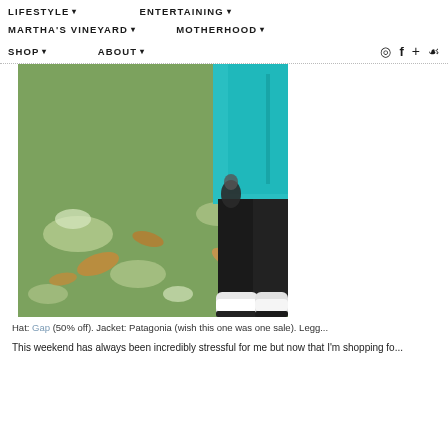LIFESTYLE ▾   ENTERTAINING ▾   MARTHA'S VINEYARD ▾   MOTHERHOOD ▾   SHOP ▾   ABOUT ▾   [instagram] [facebook] [+] [pinterest]
[Figure (photo): Child standing on grass wearing a teal/cyan Patagonia puffer jacket, black leggings, and white Converse sneakers, holding a dark object. Fallen autumn leaves visible on the green lawn.]
Hat: Gap (50% off). Jacket: Patagonia (wish this one was one sale). Legging...
This weekend has always been incredibly stressful for me but now that I'm shopping fo...